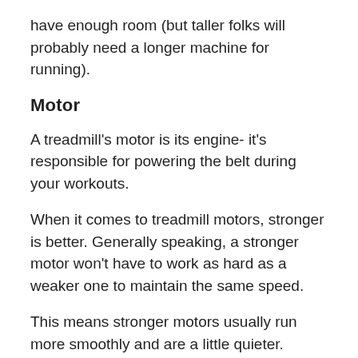have enough room (but taller folks will probably need a longer machine for running).
Motor
A treadmill's motor is its engine- it's responsible for powering the belt during your workouts.
When it comes to treadmill motors, stronger is better. Generally speaking, a stronger motor won't have to work as hard as a weaker one to maintain the same speed.
This means stronger motors usually run more smoothly and are a little quieter.
They also last longer, since they aren't being taxed as much during each workout.
Most home treadmills come with motors in the 2.0 – 4.0